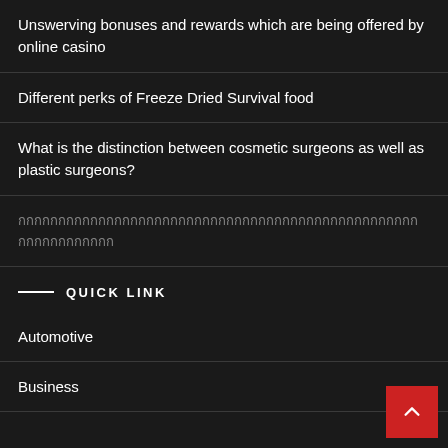Unswerving bonuses and rewards which are being offered by online casino
Different perks of Freeze Dried Survival food
What is the distinction between cosmetic surgeons as well as plastic surgeons?
กกกกกกกกกกกกกกกกกกกกกกกกกกกกกกกกกกกกกกกกกกกกกกกกกกกกกกกกกกกกกก
QUICK LINK
Automotive
Business